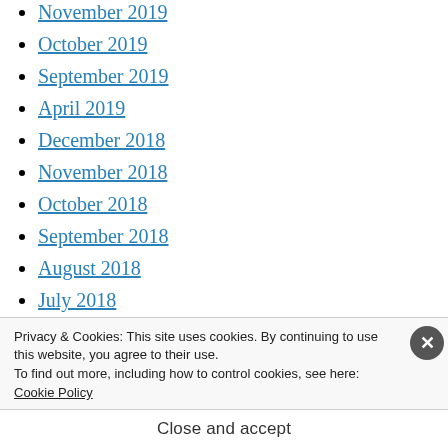November 2019
October 2019
September 2019
April 2019
December 2018
November 2018
October 2018
September 2018
August 2018
July 2018
Privacy & Cookies: This site uses cookies. By continuing to use this website, you agree to their use.
To find out more, including how to control cookies, see here:
Cookie Policy
Close and accept